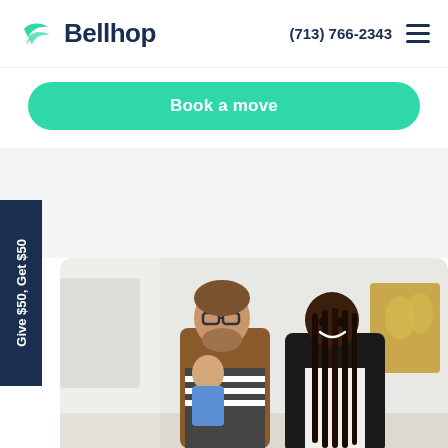Bellhop — (713) 766-2343
Book a move
Give $50, Get $50
[Figure (photo): Photo of a smiling family — a man with glasses holding a toddler, and a woman with long braids, standing in a bright home interior with artwork on the wall]